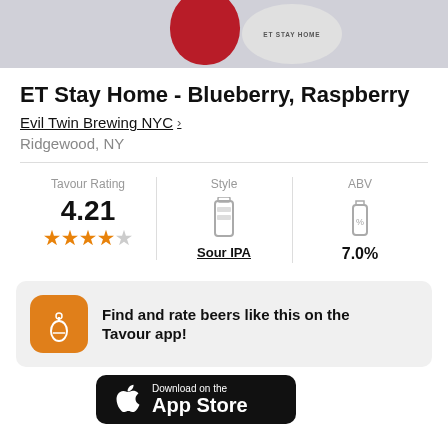[Figure (photo): Top portion of beer cans - a red/dark can and a white can labeled ET STAY HOME on a light gray background]
ET Stay Home - Blueberry, Raspberry
Evil Twin Brewing NYC >
Ridgewood, NY
| Tavour Rating | Style | ABV |
| --- | --- | --- |
| 4.21 ★★★★☆ | Sour IPA | 7.0% |
Find and rate beers like this on the Tavour app!
[Figure (logo): Download on the App Store button with Apple logo]